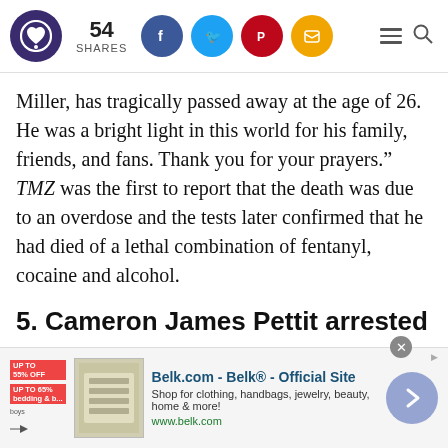54 SHARES [social icons: Facebook, Twitter, Pinterest, Email] [hamburger menu] [search]
Miller, has tragically passed away at the age of 26. He was a bright light in this world for his family, friends, and fans. Thank you for your prayers.” TMZ was the first to report that the death was due to an overdose and the tests later confirmed that he had died of a lethal combination of fentanyl, cocaine and alcohol.
5. Cameron James Pettit arrested
[Figure (screenshot): Belk.com advertisement banner at the bottom of the page showing Belk Official Site with product image and navigation arrow]